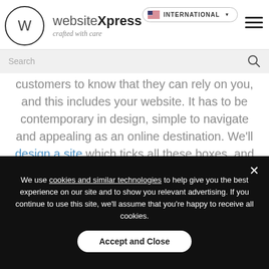websiteXpress crafted with care
customers to know that they can rely on you, and this includes your website. It has to be contemporary in design, simple to navigate and appealing as an online destination. We'll design a site which ticks all these boxes, and displays your products in a clear, accessible and attractive manner.
We use cookies and similar technologies to help give you the best experience on our site and to show you relevant advertising. If you continue to use this site, we'll assume that you're happy to receive all cookies.
Accept and Close